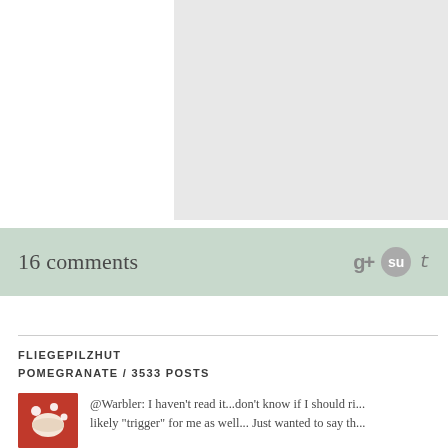[Figure (screenshot): Top section with white left panel and light gray right panel (image placeholder area)]
16 comments
FLIEGEPILZHUT
POMEGRANATE / 3533 POSTS
[Figure (photo): Avatar image showing a red mushroom hat with white dots]
@Warbler: I haven't read it...don't know if I should ri... likely "trigger" for me as well... Just wanted to say th...